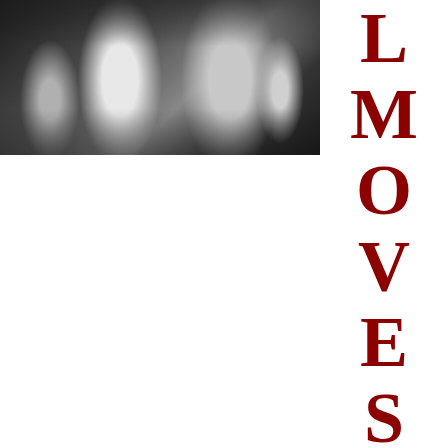[Figure (photo): Black and white photograph of two people standing next to each other, one wearing a white shirt with tattoos on their arms, the other wearing a black shirt, partially cropped at the top]
LMOVES_Co. Fron